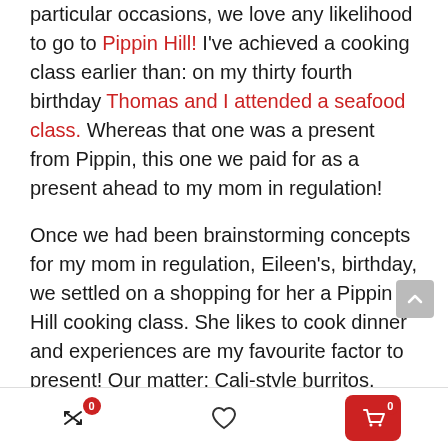particular occasions, we love any likelihood to go to Pippin Hill! I've achieved a cooking class earlier than: on my thirty fourth birthday Thomas and I attended a seafood class. Whereas that one was a present from Pippin, this one we paid for as a present ahead to my mom in regulation!
Once we had been brainstorming concepts for my mom in regulation, Eileen's, birthday, we settled on a shopping for her a Pippin Hill cooking class. She likes to cook dinner and experiences are my favourite factor to present! Our matter: Cali-style burritos. Slightly “cooler” than the same old cooking class subjects and simply as scrumptious!
[Figure (other): Mobile app bottom navigation bar with shuffle/compare icon (badge 0), heart/wishlist icon, and red cart button (badge 0)]